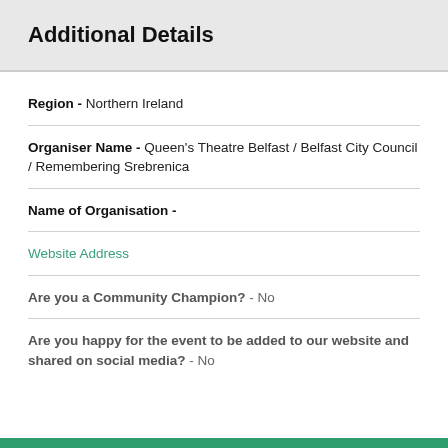Additional Details
Region - Northern Ireland
Organiser Name - Queen's Theatre Belfast / Belfast City Council / Remembering Srebrenica
Name of Organisation -
Website Address
Are you a Community Champion? - No
Are you happy for the event to be added to our website and shared on social media? - No